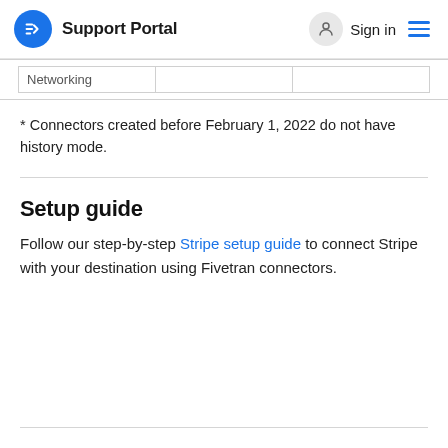Support Portal  Sign in
| Networking |  |  |
| --- | --- | --- |
* Connectors created before February 1, 2022 do not have history mode.
Setup guide
Follow our step-by-step Stripe setup guide to connect Stripe with your destination using Fivetran connectors.